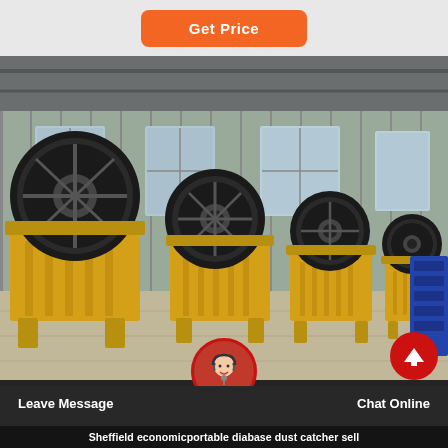Get Price
[Figure (photo): Industrial warehouse interior showing a row of yellow jaw crusher machines lined up on a concrete floor, with large flywheel discs visible. The machines are yellow with black accents. Steel framed building with corrugated metal walls and large windows in background.]
Sheffield economicportable diabase dust catcher sell
Leave Message
Chat Online